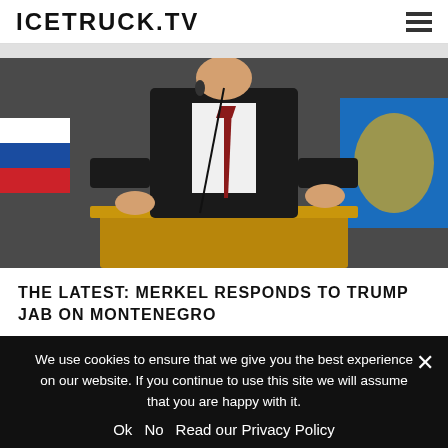ICETRUCK.TV
[Figure (photo): A man in a dark suit with a red tie stands at a wooden podium with a microphone. In the background are a Russian flag (red, white, blue) on the left and a decorative blue and gold emblem on the right.]
THE LATEST: MERKEL RESPONDS TO TRUMP JAB ON MONTENEGRO
2 Years Ago
We use cookies to ensure that we give you the best experience on our website. If you continue to use this site we will assume that you are happy with it.
Ok   No   Read our Privacy Policy